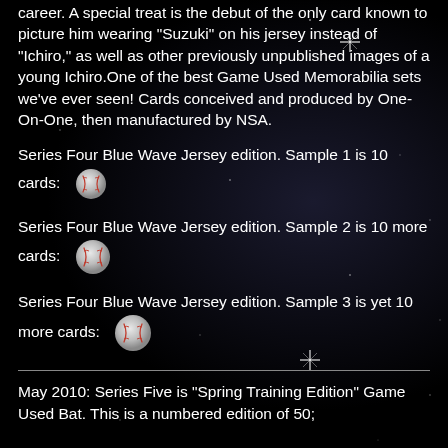career. A special treat is the debut of the only card known to picture him wearing "Suzuki" on his jersey instead of "Ichiro," as well as other previously unpublished images of a young Ichiro.One of the best Game Used Memorabilia sets we've ever seen! Cards conceived and produced by One-On-One, then manufactured by NSA.
Series Four Blue Wave Jersey edition. Sample 1 is 10 cards: [baseball image]
Series Four Blue Wave Jersey edition. Sample 2 is 10 more cards: [baseball image]
Series Four Blue Wave Jersey edition. Sample 3 is yet 10 more cards: [baseball image]
May 2010: Series Five is "Spring Training Edition" Game Used Bat. This is a numbered edition of 50;